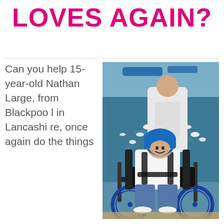LOVES AGAIN?
Can you help 15-year-old Nathan Large, from Blackpool in Lancashire, once again do the things
[Figure (photo): A boy in a wheelchair wearing a blue helmet and harness, smiling, at what appears to be a park lake with swans and ducks. An adult stands behind him pushing the wheelchair.]